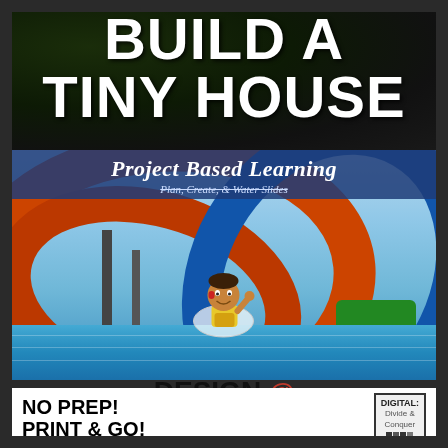BUILD A TINY HOUSE
[Figure (illustration): Water park photo with orange, blue and green water slides against blue sky, with cartoon child character in foreground, and Project Based Learning header overlay]
Project Based Learning
Plan, Create, & Water Slides
DESIGN a WATER PARK
NO PREP! PRINT & GO!
DIGITAL: Divide & Conquer